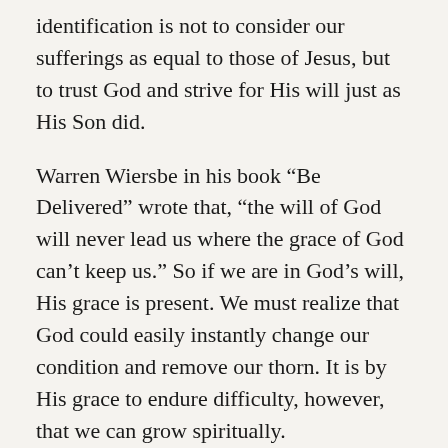identification is not to consider our sufferings as equal to those of Jesus, but to trust God and strive for His will just as His Son did.
Warren Wiersbe in his book “Be Delivered” wrote that, “the will of God will never lead us where the grace of God can’t keep us.” So if we are in God’s will, His grace is present. We must realize that God could easily instantly change our condition and remove our thorn. It is by His grace to endure difficulty, however, that we can grow spiritually.
In Romans 8:18, Paul went further and proclaimed that, “For I reckon that the sufferings of this present time are not worthy to be compared with the glory